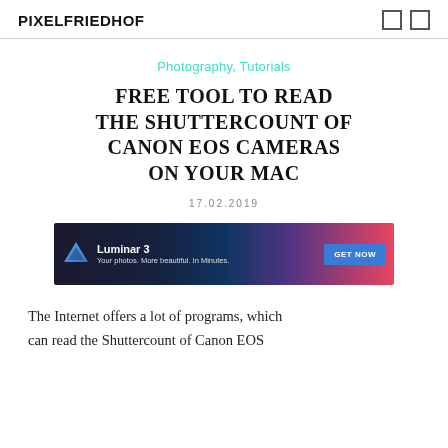PIXELFRIEDHOF
Photography, Tutorials
FREE TOOL TO READ THE SHUTTERCOUNT OF CANON EOS CAMERAS ON YOUR MAC
17.02.2019
[Figure (other): Luminar 3 advertisement banner: 'Your photos. More beautiful. In Minutes.' with GET NOW button]
The Internet offers a lot of programs, which can read the Shuttercount of Canon EOS